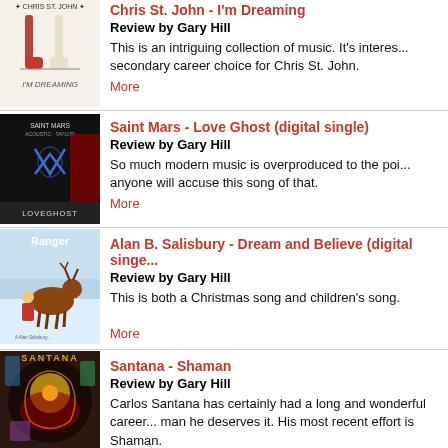[Figure (illustration): Chris St. John - I'm Dreaming album cover with guitars]
Chris St. John - I'm Dreaming
Review by Gary Hill
This is an intriguing collection of music. It's interes... secondary career choice for Chris St. John.
More
[Figure (illustration): Saint Mars - Love Ghost digital single album cover, dark background with blue figure]
Saint Mars - Love Ghost (digital single)
Review by Gary Hill
So much modern music is overproduced to the poi... anyone will accuse this song of that.
More
[Figure (illustration): Alan B. Salisbury - Dream and Believe digital single, Ranger the reindeer Christmas image]
Alan B. Salisbury - Dream and Believe (digital singleI
Review by Gary Hill
This is both a Christmas song and children's song.
More
[Figure (illustration): Santana - Shaman album cover, colorful psychedelic art]
Santana - Shaman
Review by Gary Hill
Carlos Santana has certainly had a long and wonderful career... man he deserves it. His most recent effort is Shaman.
More
Sara Santa... (additional item partially visible)